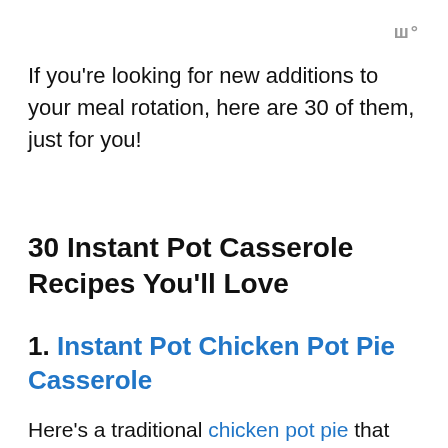ш°
If you're looking for new additions to your meal rotation, here are 30 of them, just for you!
30 Instant Pot Casserole Recipes You'll Love
1. Instant Pot Chicken Pot Pie Casserole
Here's a traditional chicken pot pie that